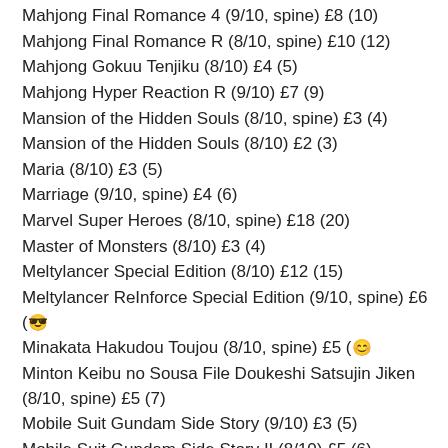Mahjong Final Romance 4 (9/10, spine) £8 (10)
Mahjong Final Romance R (8/10, spine) £10 (12)
Mahjong Gokuu Tenjiku (8/10) £4 (5)
Mahjong Hyper Reaction R (9/10) £7 (9)
Mansion of the Hidden Souls (8/10, spine) £3 (4)
Mansion of the Hidden Souls (8/10) £2 (3)
Maria (8/10) £3 (5)
Marriage (9/10, spine) £4 (6)
Marvel Super Heroes (8/10, spine) £18 (20)
Master of Monsters (8/10) £3 (4)
Meltylancer Special Edition (8/10) £12 (15)
Meltylancer ReInforce Special Edition (9/10, spine) £6 (😎)
Minakata Hakudou Toujou (8/10, spine) £5 (😊)
Minton Keibu no Sousa File Doukeshi Satsujin Jiken (8/10, spine) £5 (7)
Mobile Suit Gundam Side Story (9/10) £3 (5)
Mobile Suit Gundam Side Story II (8/10) £5 (6)
Momotarou Douchuuki (9/10, spine) £5 (6)